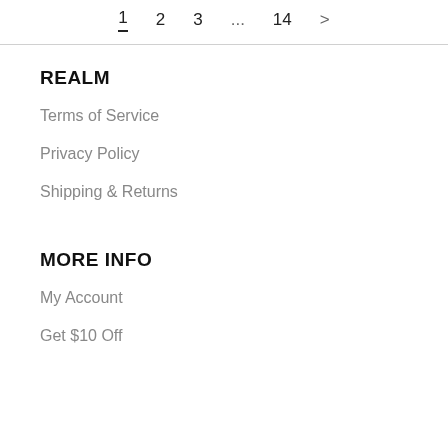1  2  3  ...  14  >
REALM
Terms of Service
Privacy Policy
Shipping & Returns
MORE INFO
My Account
Get $10 Off